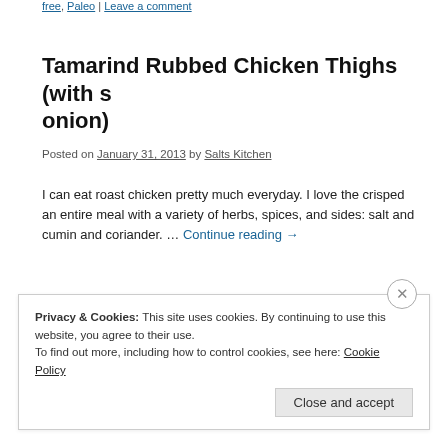free, Paleo | Leave a comment
Tamarind Rubbed Chicken Thighs (with s onion)
Posted on January 31, 2013 by Salts Kitchen
I can eat roast chicken pretty much everyday. I love the crisped an entire meal with a variety of herbs, spices, and sides: salt and cumin and coriander. … Continue reading →
Posted in Dietary Restrictions, Recipes, Salty | Tagged Chicken, gluten free, Dinner, sweet potato | 2 Comments
Privacy & Cookies: This site uses cookies. By continuing to use this website, you agree to their use.
To find out more, including how to control cookies, see here: Cookie Policy
Close and accept